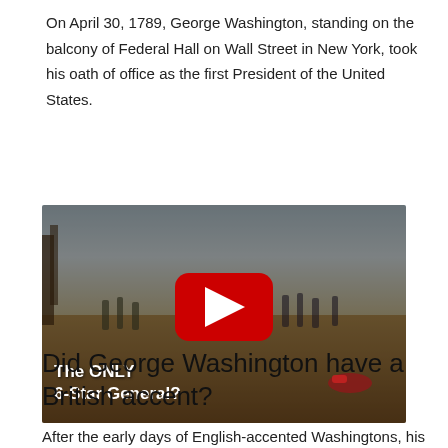On April 30, 1789, George Washington, standing on the balcony of Federal Hall on Wall Street in New York, took his oath of office as the first President of the United States.
[Figure (screenshot): YouTube video thumbnail showing a painting of George Washington on horseback in battle, with a YouTube play button overlay. Text overlay reads 'The ONLY 6-Star General?']
Did George Washington have a British accent?
After the early days of English-accented Washingtons, his voice...